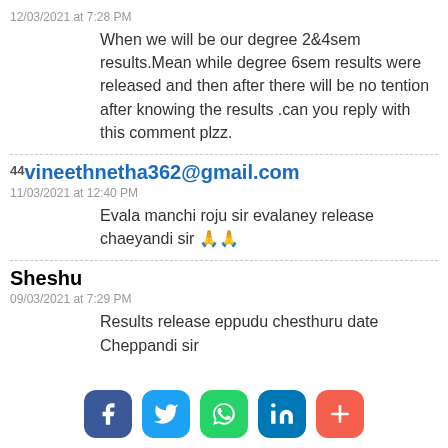12/03/2021 at 7:28 PM
When we will be our degree 2&4sem results.Mean while degree 6sem results were released and then after there will be no tention after knowing the results .can you reply with this comment plzz.
44 vineethnetha362@gmail.com
11/03/2021 at 12:40 PM
Evala manchi roju sir evalaney release chaeyandi sir 🙏🙏
Sheshu
09/03/2021 at 7:29 PM
Results release eppudu chesthuru date Cheppandi sir